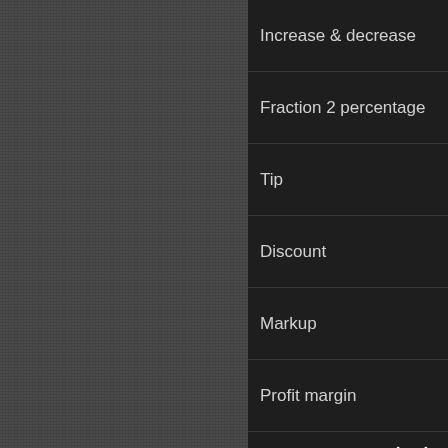Increase & decrease
Fraction 2 percentage
Tip
Discount
Markup
Profit margin
Android app
iPhone / iPad app